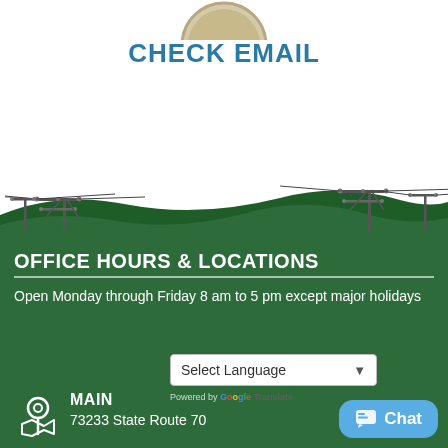[Figure (illustration): Partial circular logo/seal at top center, beige/tan coloring, partially cropped]
CHECK EMAIL
[Figure (illustration): Rural landscape illustration with rolling green hills, utility/power poles on left and right sides with wires, against white sky background]
OFFICE HOURS & LOCATIONS
Open Monday through Friday 8 am to 5 pm except major holidays
[Figure (illustration): Map pin / location icon in white outline style]
MAIN
73233 State Route 70
Select Language
Powered by Google Translate
Chat